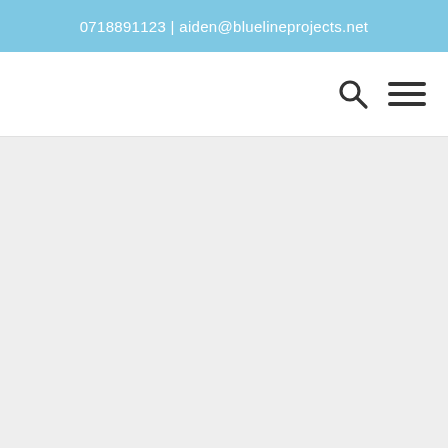0718891123 | aiden@bluelineprojects.net
[Figure (screenshot): Navigation bar with search icon and hamburger menu icon on the right side]
[Figure (other): Large light grey empty content area below the navigation bar]